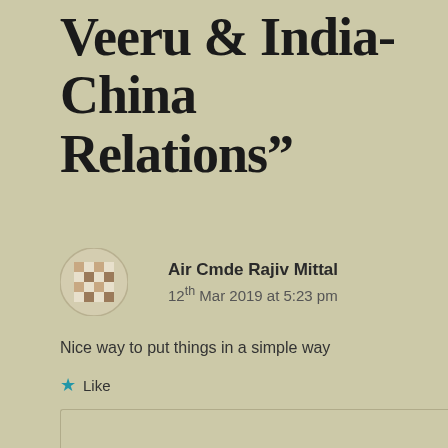Veeru & India-China Relations”
Air Cmde Rajiv Mittal
12th Mar 2019 at 5:23 pm
Nice way to put things in a simple way
★ Like
↳ Reply